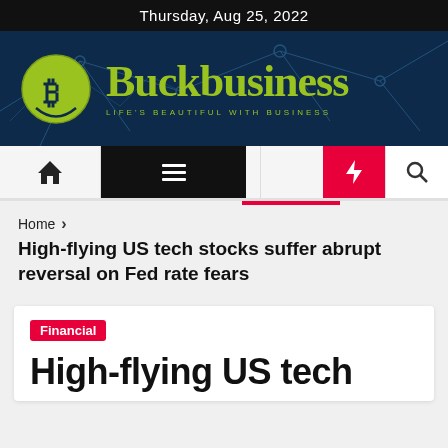Thursday, Aug 25, 2022
[Figure (logo): Buckbusiness logo with Bitcoin symbol in green circle and text 'Buckbusiness' with tagline 'LIFE'S BEAUTIFUL WITH BUSINESS' on dark navy background with network graph lines]
[Figure (other): Navigation bar with home icon, hamburger menu, moon icon, lightning bolt icon (red background), and search icon]
Home > High-flying US tech stocks suffer abrupt reversal on Fed rate fears
High-flying US tech stocks suffer abrupt reversal on Fed rate fears
Financial
High-flying US tech